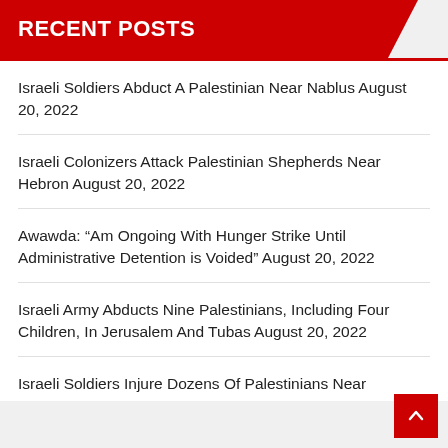RECENT POSTS
Israeli Soldiers Abduct A Palestinian Near Nablus August 20, 2022
Israeli Colonizers Attack Palestinian Shepherds Near Hebron August 20, 2022
Awawda: “Am Ongoing With Hunger Strike Until Administrative Detention is Voided” August 20, 2022
Israeli Army Abducts Nine Palestinians, Including Four Children, In Jerusalem And Tubas August 20, 2022
Israeli Soldiers Injure Dozens Of Palestinians Near